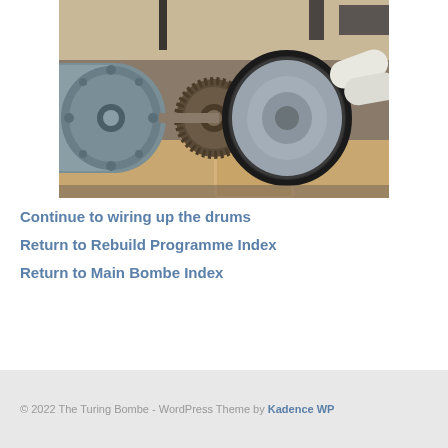[Figure (photo): Close-up photograph of mechanical components of the Turing Bombe machine, showing a motor, chain sprocket, and drum assembly with circular disc, mounted on a wooden support in a workshop setting.]
Continue to wiring up the drums
Return to Rebuild Programme Index
Return to Main Bombe Index
© 2022 The Turing Bombe - WordPress Theme by Kadence WP